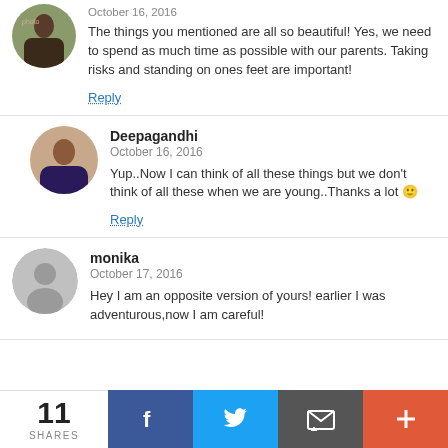The things you mentioned are all so beautiful! Yes, we need to spend as much time as possible with our parents. Taking risks and standing on ones feet are important!
Reply
Deepagandhi
October 16, 2016
Yup..Now I can think of all these things but we don't think of all these when we are young..Thanks a lot 🙂
Reply
monika
October 17, 2016
Hey I am an opposite version of yours! earlier I was adventurous,now I am careful!